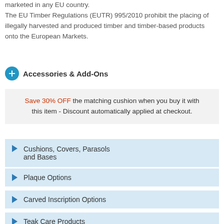marketed in any EU country. The EU Timber Regulations (EUTR) 995/2010 prohibit the placing of illegally harvested and produced timber and timber-based products onto the European Markets.
Accessories & Add-Ons
Save 30% OFF the matching cushion when you buy it with this item - Discount automatically applied at checkout.
Cushions, Covers, Parasols and Bases
Plaque Options
Carved Inscription Options
Teak Care Products